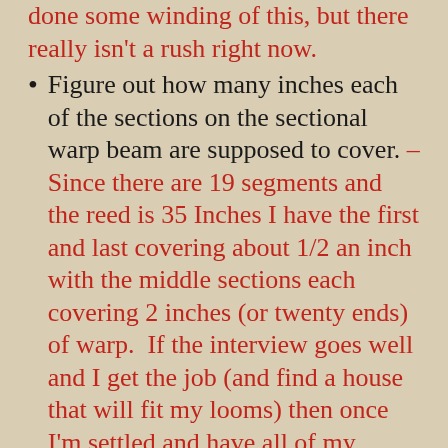done some winding of this, but there really isn't a rush right now.
Figure out how many inches each of the sections on the sectional warp beam are supposed to cover. – Since there are 19 segments and the reed is 35 Inches I have the first and last covering about 1/2 an inch with the middle sections each covering 2 inches (or twenty ends) of warp.  If the interview goes well and I get the job (and find a house that will fit my looms) then once I'm settled and have all of my expenses taken care of I intend to buy enough cones to use the